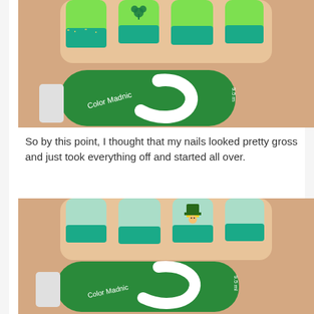[Figure (photo): Close-up photo of fingers with green and teal glitter French tip nail art, with a shamrock decoration on one nail. A green Color Madnic nail polish bottle is shown in front of the hand.]
So by this point, I thought that my nails looked pretty gross and just took everything off and started all over.
[Figure (photo): Close-up photo of fingers with mint green and teal glitter French tip nail art, with a leprechaun decoration on one nail. A green Color Madnic nail polish bottle is shown in front of the hand.]